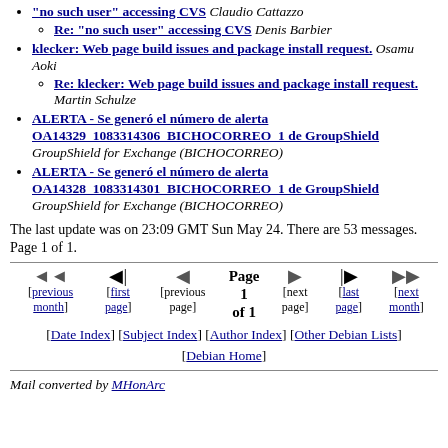"no such user" accessing CVS Claudio Cattazzo
Re: "no such user" accessing CVS Denis Barbier
klecker: Web page build issues and package install request. Osamu Aoki
Re: klecker: Web page build issues and package install request. Martin Schulze
ALERTA - Se generó el número de alerta OA14329_1083314306_BICHOCORREO_1 de GroupShield GroupShield for Exchange (BICHOCORREO)
ALERTA - Se generó el número de alerta OA14328_1083314301_BICHOCORREO_1 de GroupShield GroupShield for Exchange (BICHOCORREO)
The last update was on 23:09 GMT Sun May 24. There are 53 messages. Page 1 of 1.
Page 1 of 1 navigation with previous month, first page, previous page, next page, last page, next month
[Date Index] [Subject Index] [Author Index] [Other Debian Lists] [Debian Home]
Mail converted by MHonArc